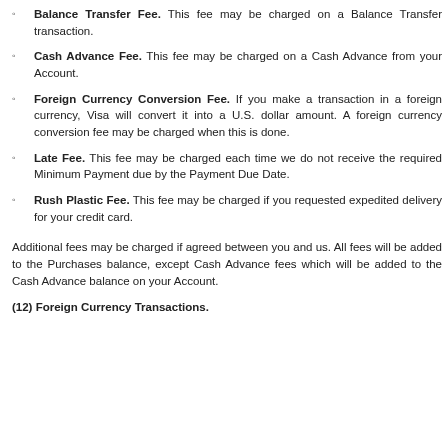Balance Transfer Fee. This fee may be charged on a Balance Transfer transaction.
Cash Advance Fee. This fee may be charged on a Cash Advance from your Account.
Foreign Currency Conversion Fee. If you make a transaction in a foreign currency, Visa will convert it into a U.S. dollar amount. A foreign currency conversion fee may be charged when this is done.
Late Fee. This fee may be charged each time we do not receive the required Minimum Payment due by the Payment Due Date.
Rush Plastic Fee. This fee may be charged if you requested expedited delivery for your credit card.
Additional fees may be charged if agreed between you and us. All fees will be added to the Purchases balance, except Cash Advance fees which will be added to the Cash Advance balance on your Account.
(12) Foreign Currency Transactions.